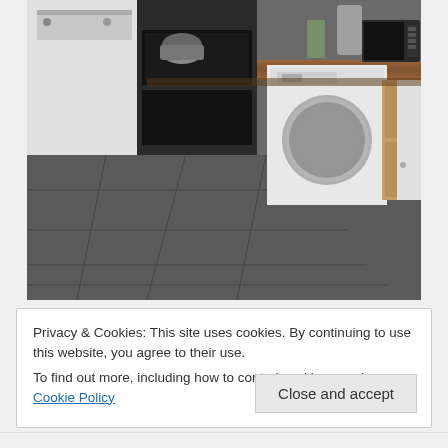[Figure (photo): Kitchen interior photo showing a washing machine, dishwasher, oven/range, white cabinets, wooden countertop, and grey tiled floor. Various kitchen appliances visible on the counter including a slow cooker, microwave, and other items.]
Privacy & Cookies: This site uses cookies. By continuing to use this website, you agree to their use.
To find out more, including how to control cookies, see here: Cookie Policy
Close and accept